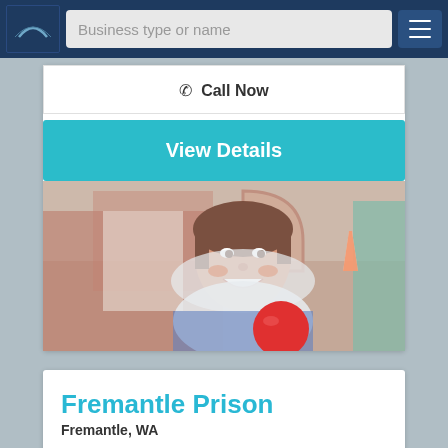Business type or name
Call Now
View Details
[Figure (photo): Smiling woman wearing a blue checked shirt and white hood/scarf, holding a red ball, photographed outdoors in front of brick building with green trim]
Fremantle Prison
Fremantle, WA